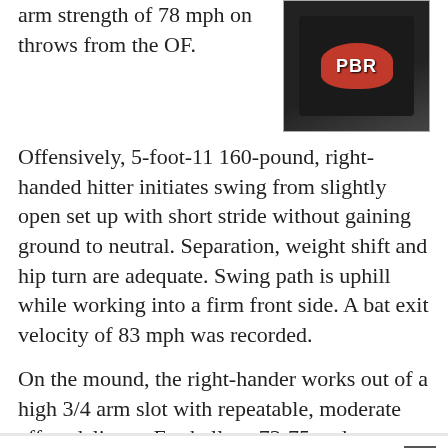arm strength of 78 mph on throws from the OF.
[Figure (photo): Player wearing a black PBR (Prep Baseball Report) branded t-shirt]
Offensively, 5-foot-11 160-pound, right-handed hitter initiates swing from slightly open set up with short stride without gaining ground to neutral. Separation, weight shift and hip turn are adequate. Swing path is uphill while working into a firm front side. A bat exit velocity of 83 mph was recorded.
On the mound, the right-hander works out of a high 3/4 arm slot with repeatable, moderate effort delivery. Fastball sat 73-75 and was true. Curveball at 63-64 showed 11/5 shape, rolling action and moderate depth. Changeup was thrown with reasonable sell at 68-69 while being cut to the glove side.
REMAINDER OF ROSTER (IN RANDOM ORDER)